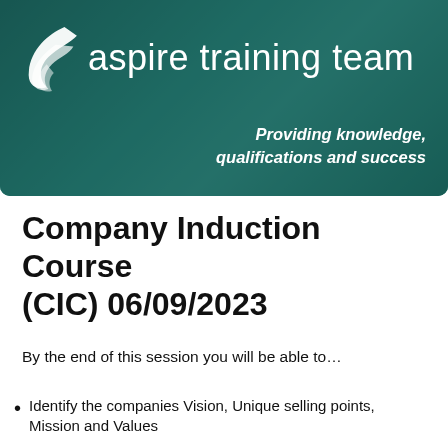[Figure (logo): Aspire Training Team logo banner with teal/dark green background, swoosh graphic, company name, and tagline 'Providing knowledge, qualifications and success']
Company Induction Course (CIC) 06/09/2023
By the end of this session you will be able to…
Identify the companies Vision, Unique selling points, Mission and Values